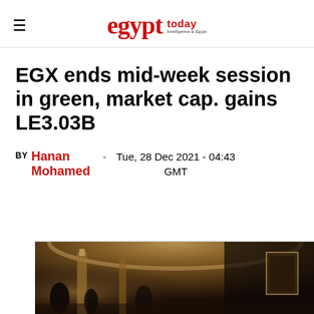egypt today
EGX ends mid-week session in green, market cap. gains LE3.03B
BY Hanan Mohamed - Tue, 28 Dec 2021 - 04:43 GMT
[Figure (photo): Interior photo of a grand hall or exchange floor with people and ornate architectural features including columns and an arched ceiling]